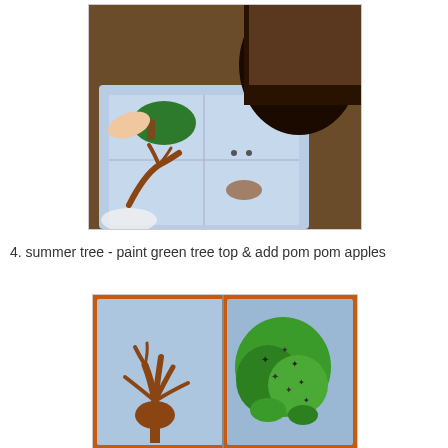[Figure (photo): A young girl with dark hair and pink sunglasses headband leaning over a table, working on a painted artwork with brown tree branches and green shapes on blue paper.]
4. summer tree - paint green tree top & add pom pom apples
[Figure (photo): A craft project showing two pages of a book: left page has a brown handprint/tree trunk painted on light blue background, right page has green painted tree top with small star/flower decorations (pom pom apples) on orange background.]